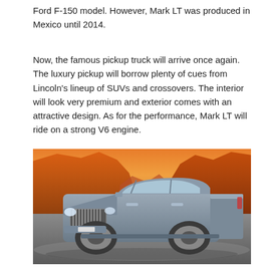Ford F-150 model. However, Mark LT was produced in Mexico until 2014.
Now, the famous pickup truck will arrive once again. The luxury pickup will borrow plenty of cues from Lincoln’s lineup of SUVs and crossovers. The interior will look very premium and exterior comes with an attractive design. As for the performance, Mark LT will ride on a strong V6 engine.
[Figure (photo): A Lincoln Mark LT pickup truck parked in front of a desert rock formation at sunset, with an orange-hued sky.]